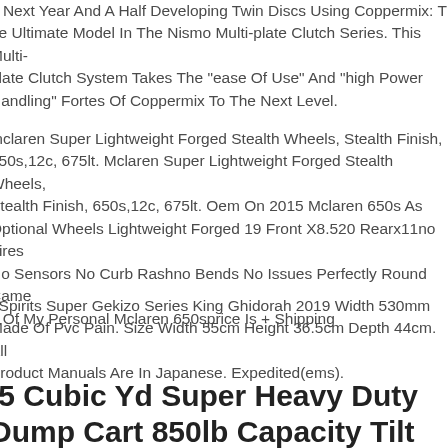e Next Year And A Half Developing Twin Discs Using Coppermix: The Ultimate Model In The Nismo Multi-plate Clutch Series. This Multi-plate Clutch System Takes The "ease Of Use" And "high Power Handling" Fortes Of Coppermix To The Next Level.
mclaren Super Lightweight Forged Stealth Wheels, Stealth Finish, 650s,12c, 675lt. Mclaren Super Lightweight Forged Stealth Wheels, Stealth Finish, 650s,12c, 675lt. Oem On 2015 Mclaren 650s As Optional Wheels Lightweight Forged 19 Front X8.520 Rearx11no Tires No Sensors No Curb Rashno Bends No Issues Perfectly Round Came Off Of My Personal Mclaren 650sprice Is + Shipping
t Spirits Super Gekizo Series King Ghidorah 2019 Width 530mm Made Of Pvc Pain. Size Width 55cm Height 36.5cm Depth 44cm. All Product Manuals Are In Japanese. Expedited(ems).
.5 Cubic Yd Super Heavy Duty Dump Cart 850lb Capacity Tilt